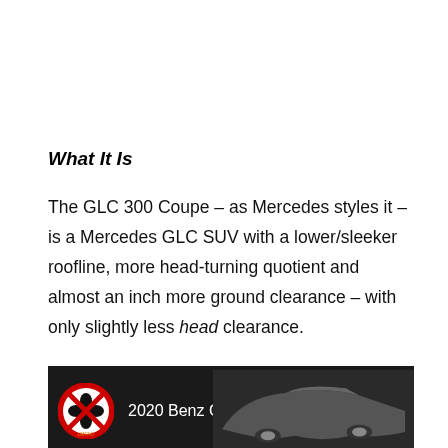What It Is
The GLC 300 Coupe – as Mercedes styles it – is a Mercedes GLC SUV with a lower/sleeker roofline, more head-turning quotient and almost an inch more ground clearance – with only slightly less head clearance.
[Figure (photo): Video thumbnail showing a dark grey Mercedes-Benz GLC 300 with a channel logo (red circle with black four-leaf clover crossed out) and title text '2020 Benz GLC 300 Rant!']